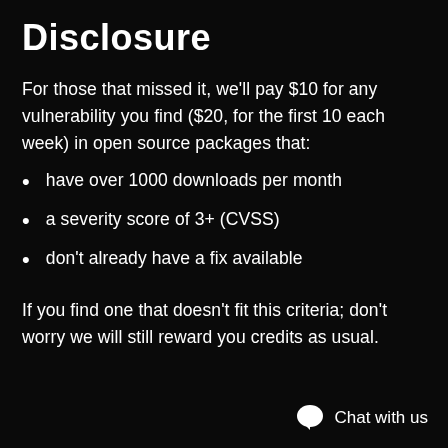Disclosure
For those that missed it, we'll pay $10 for any vulnerability you find ($20, for the first 10 each week) in open source packages that:
have over 1000 downloads per month
a severity score of 3+ (CVSS)
don't already have a fix available
If you find one that doesn't fit this criteria; don't worry we will still reward you credits as usual.
Chat with us